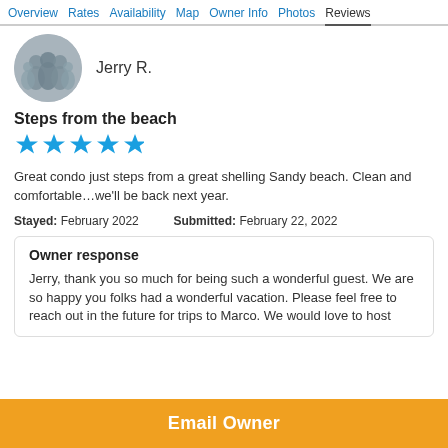Overview  Rates  Availability  Map  Owner Info  Photos  Reviews
[Figure (photo): Circular avatar photo of reviewer Jerry R., showing a group of people outdoors]
Jerry R.
Steps from the beach
[Figure (other): 5 blue star rating icons]
Great condo just steps from a great shelling Sandy beach. Clean and comfortable…we'll be back next year.
Stayed: February 2022   Submitted: February 22, 2022
Owner response
Jerry, thank you so much for being such a wonderful guest. We are so happy you folks had a wonderful vacation. Please feel free to reach out in the future for trips to Marco. We would love to host
Email Owner